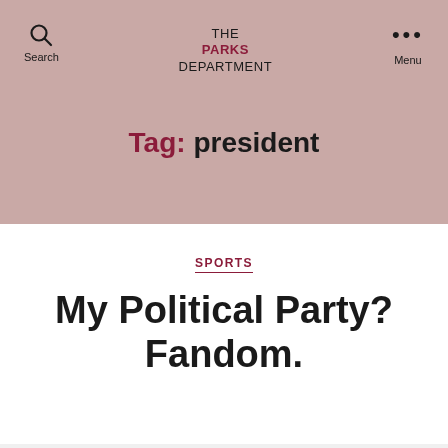THE PARKS DEPARTMENT
Tag: president
SPORTS
My Political Party? Fandom.
Follow ...